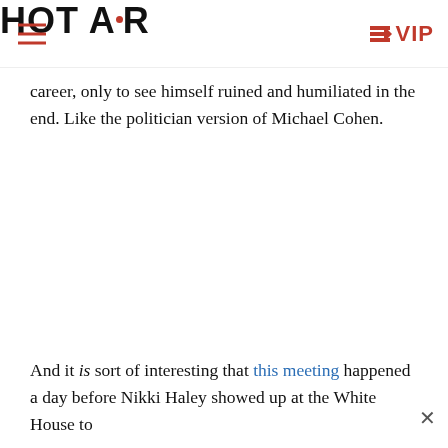HOT AIR  VIP
career, only to see himself ruined and humiliated in the end. Like the politician version of Michael Cohen.
And it is sort of interesting that this meeting happened a day before Nikki Haley showed up at the White House to